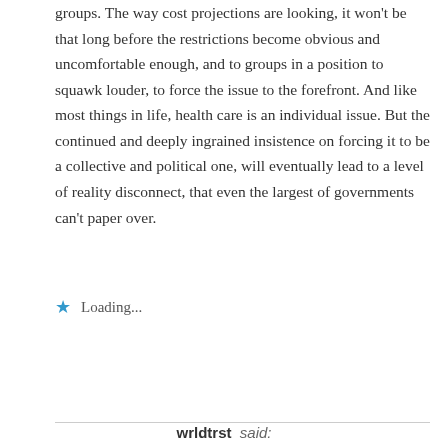groups. The way cost projections are looking, it won't be that long before the restrictions become obvious and uncomfortable enough, and to groups in a position to squawk louder, to force the issue to the forefront. And like most things in life, health care is an individual issue. But the continued and deeply ingrained insistence on forcing it to be a collective and political one, will eventually lead to a level of reality disconnect, that even the largest of governments can't paper over.
Loading...
REPLY
wrldtrst said:
November 20, 2016 6:31:30 at 6:31 AM
A d-bag – yes. Nonetheless, he is by far one of the most accurate people on the net. A bit over-dramatic, long- winded, pompous, and maybe not